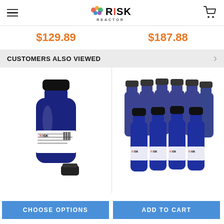Risk Reactor — navigation header with logo and cart
$129.89
$187.88
CUSTOMERS ALSO VIEWED
[Figure (photo): Single dark blue bottle of Risk Reactor Fluorescent Reactivator UV Ink with black cap beside it]
[Figure (photo): Group of multiple dark blue bottles of Risk Reactor Fluorescent Reactivator UV Ink]
CHOOSE OPTIONS
ADD TO CART